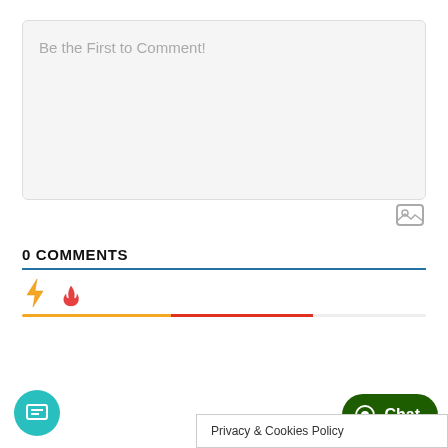Be the First to Comment!
[Figure (screenshot): Comment text input area (textarea) with placeholder text 'Be the First to Comment!' and an image upload icon below-right]
0 COMMENTS
[Figure (infographic): Blue horizontal divider line, then lightning bolt (orange) and flame (red-orange) icon row, then orange-to-red gradient progress bar]
[Figure (infographic): Teal circular chat/message button at bottom left]
[Figure (infographic): Dark green Chat button at bottom right with speech bubble icon]
Privacy & Cookies Policy